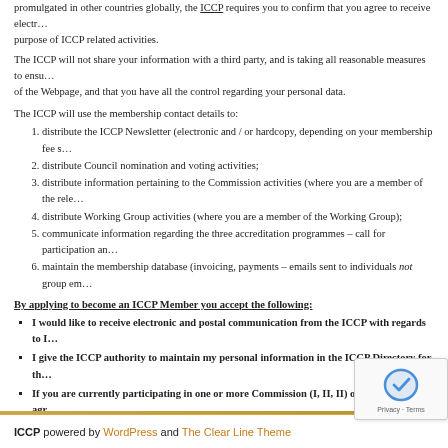promulgated in other countries globally, the ICCP requires you to confirm that you agree to receive electronic communications for the purpose of ICCP related activities.
The ICCP will not share your information with a third party, and is taking all reasonable measures to ensure the security of the Webpage, and that you have all the control regarding your personal data.
The ICCP will use the membership contact details to:
distribute the ICCP Newsletter (electronic and / or hardcopy, depending on your membership fee structure);
distribute Council nomination and voting activities;
distribute information pertaining to the Commission activities (where you are a member of the relevant Commission);
distribute Working Group activities (where you are a member of the Working Group);
communicate information regarding the three accreditation programmes – call for participation and administration;
maintain the membership database (invoicing, payments – emails sent to individuals not group emails).
By applying to become an ICCP Member you accept the following:
I would like to receive electronic and postal communication from the ICCP with regards to ICCP activities.
I give the ICCP authority to maintain my personal information in the ICCP Directory for the benefit of members.
If you are currently participating in one or more Commission (I, II, II) of the ICCP, you agree that the ICCP may use the contact details supplied by you for communication regarding the Commission activities.
If you are currently participating in one or more working group of the ICCP, you agree that the ICCP may use the details supplied by you for communication regarding the Working Group activities.
ICCP powered by WordPress and The Clear Line Theme